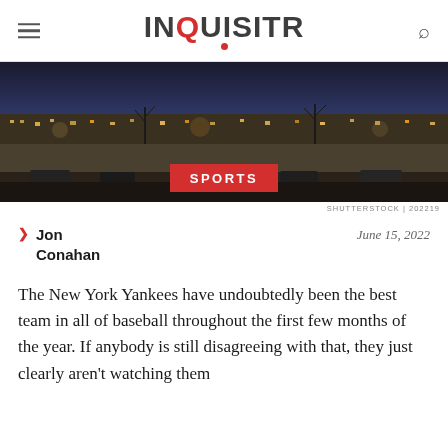INQUISITR
[Figure (photo): Nighttime city street scene with illuminated buildings, cars, and bare trees. Red SPORTS badge overlay centered at bottom.]
SHUTTERSTOCK | 202219
Jon Conahan   June 15, 2022
The New York Yankees have undoubtedly been the best team in all of baseball throughout the first few months of the year. If anybody is still disagreeing with that, they just clearly aren't watching them